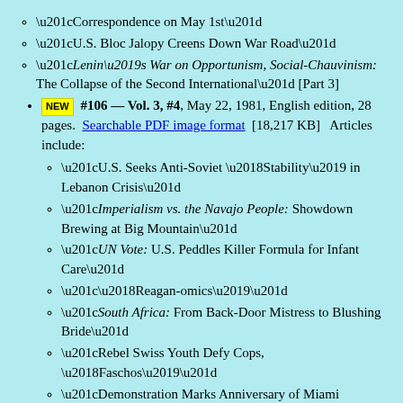“Correspondence on May 1st”
“U.S. Bloc Jalopy Creens Down War Road”
“Lenin’s War on Opportunism, Social-Chauvinism: The Collapse of the Second International” [Part 3]
#106 — Vol. 3, #4, May 22, 1981, English edition, 28 pages. Searchable PDF image format [18,217 KB] Articles include:
“U.S. Seeks Anti-Soviet ‘Stability’ in Lebanon Crisis”
“Imperialism vs. the Navajo People: Showdown Brewing at Big Mountain”
“UN Vote: U.S. Peddles Killer Formula for Infant Care”
“‘Reagan-omics’”
“South Africa: From Back-Door Mistress to Blushing Bride”
“Rebel Swiss Youth Defy Cops, ‘Faschos’”
“Demonstration Marks Anniversary of Miami Rebellion”
“‘Left’ Economism in Theory and Practice”
“The Clash’s Sandinista!”
“Imperialist War Preparations